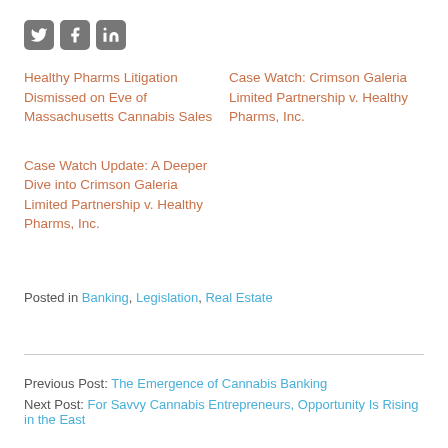[Figure (other): Social media share icons: Twitter, Facebook, LinkedIn]
Healthy Pharms Litigation Dismissed on Eve of Massachusetts Cannabis Sales
Case Watch: Crimson Galeria Limited Partnership v. Healthy Pharms, Inc.
Case Watch Update: A Deeper Dive into Crimson Galeria Limited Partnership v. Healthy Pharms, Inc.
Posted in Banking, Legislation, Real Estate
Previous Post: The Emergence of Cannabis Banking
Next Post: For Savvy Cannabis Entrepreneurs, Opportunity Is Rising in the East